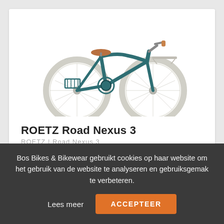[Figure (photo): A teal/dark green city bicycle (ROETZ Road Nexus 3) with a brown leather saddle, front carrier rack, white wheel rims, on a white background.]
ROETZ Road Nexus 3
ROETZ | Road Nexus 3
€679,–
Customize your own Roetz. Start with our unique steel frame…
Bos Bikes & Bikewear gebruikt cookies op haar website om het gebruik van de website te analyseren en gebruiksgemak te verbeteren.
Lees meer
ACCEPTEER